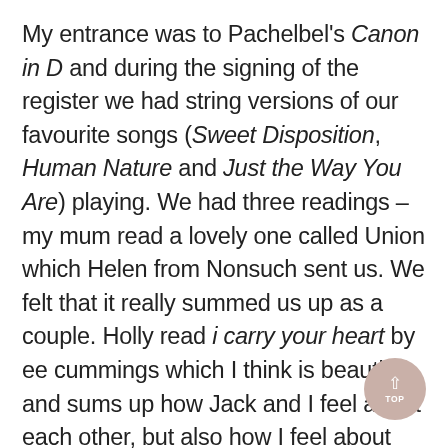My entrance was to Pachelbel's Canon in D and during the signing of the register we had string versions of our favourite songs (Sweet Disposition, Human Nature and Just the Way You Are) playing. We had three readings – my mum read a lovely one called Union which Helen from Nonsuch sent us. We felt that it really summed us up as a couple. Holly read i carry your heart by ee cummings which I think is beautiful and sums up how Jack and I feel about each other, but also how I feel about Holly! Finally, Jack's dad read a poem called Stepping Stones that Jack's mum Hilary had written – we kept it a secret until the day that it had been written by Hilary and it was